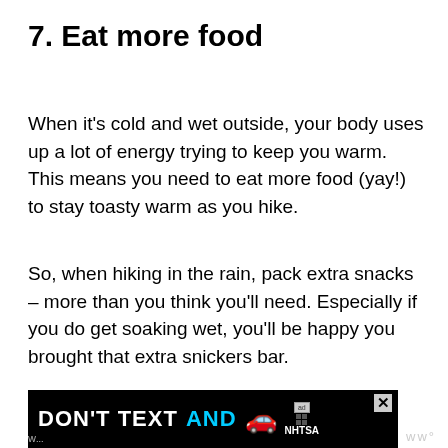7. Eat more food
When it’s cold and wet outside, your body uses up a lot of energy trying to keep you warm. This means you need to eat more food (yay!) to stay toasty warm as you hike.
So, when hiking in the rain, pack extra snacks – more than you think you’ll need. Especially if you do get soaking wet, you’ll be happy you brought that extra snickers bar.
8. Don’t forget to hydrate
[Figure (other): An advertisement banner showing 'DON'T TEXT AND' with a car emoji and NHTSA branding on a black background, with a close button (X) in the top right corner.]